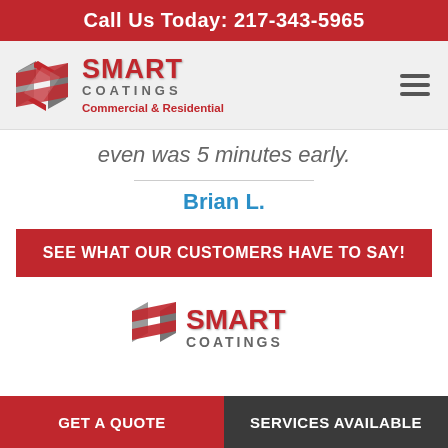Call Us Today: 217-343-5965
[Figure (logo): Smart Coatings logo with diamond-shaped icon (grey and red) and text 'SMART COATINGS Commercial & Residential']
even was 5 minutes early.
Brian L.
SEE WHAT OUR CUSTOMERS HAVE TO SAY!
[Figure (logo): Smart Coatings logo large centered at bottom of page]
GET A QUOTE | SERVICES AVAILABLE